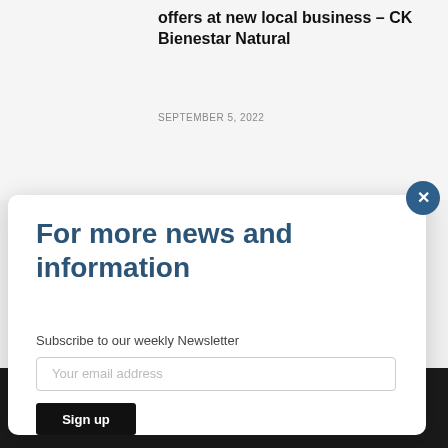offers at new local business – CK Bienestar Natural
SEPTEMBER 5, 2022
For more news and information
Subscribe to our weekly Newsletter
Your email address
Sign up